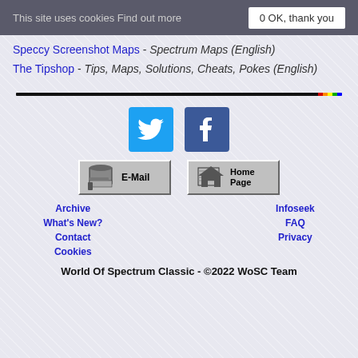This site uses cookies Find out more | 0 OK, thank you
Speccy Screenshot Maps - Spectrum Maps (English)
The Tipshop - Tips, Maps, Solutions, Cheats, Pokes (English)
[Figure (other): Horizontal divider bar with rainbow colored end segment]
[Figure (other): Twitter and Facebook social media icon buttons]
[Figure (other): E-Mail and Home Page retro style buttons]
Archive
What's New?
Contact
Cookies
Infoseek
FAQ
Privacy
World Of Spectrum Classic - ©2022 WoSC Team